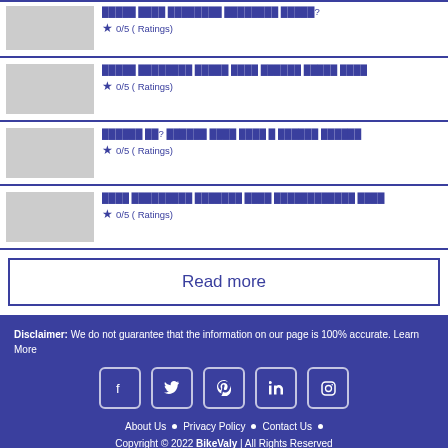0/5 ( Ratings)
0/5 ( Ratings)
0/5 ( Ratings)
0/5 ( Ratings)
Read more
Disclaimer: We do not guarantee that the information on our page is 100% accurate. Learn More
About Us • Privacy Policy • Contact Us •
Copyright © 2022 BikeValy | All Rights Reserved